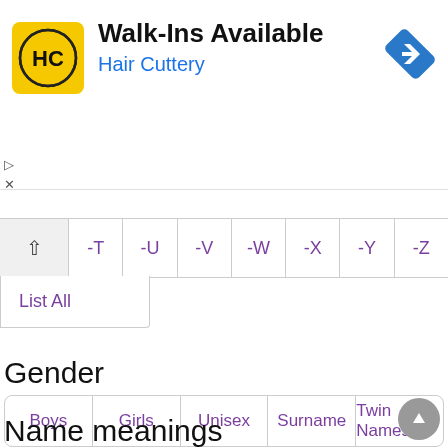[Figure (screenshot): Hair Cuttery advertisement banner with yellow logo, text 'Walk-Ins Available' and 'Hair Cuttery', and a blue navigation arrow icon]
-T  -U  -V  -W  -X  -Y  -Z
List All
Gender
Boys  Girls  Unisex  Surname  Twin Names
Name meanings